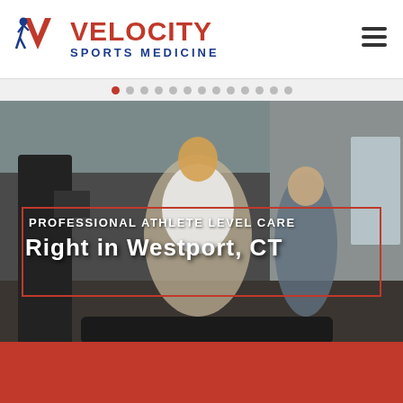[Figure (logo): Velocity Sports Medicine logo with running athlete silhouette and red chevron mark, company name in red (VELOCITY) and blue (SPORTS MEDICINE)]
[Figure (other): Hamburger menu icon (three horizontal bars) in top right of header]
[Figure (other): Slideshow navigation dots row — first dot is red (active), rest are grey; approximately 13 dots total]
[Figure (photo): Photo of a woman running on a treadmill with a male physical therapist standing nearby in a sports medicine facility; Velocity logo visible on the wall in the background]
PROFESSIONAL ATHLETE LEVEL CARE
Right in Westport, CT
Our office participates in most insurance programs. Cash rates are also available.